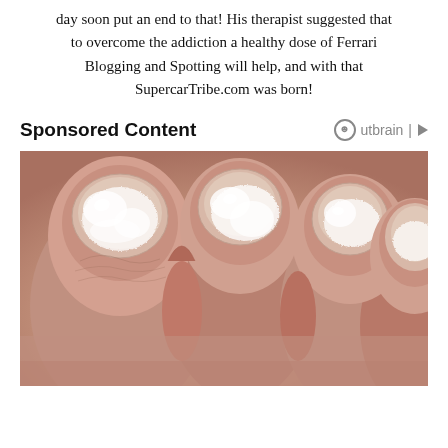day soon put an end to that! His therapist suggested that to overcome the addiction a healthy dose of Ferrari Blogging and Spotting will help, and with that SupercarTribe.com was born!
Sponsored Content
[Figure (photo): Close-up photo of toes with white cream or treatment applied, showing skin condition affecting toenails and surrounding skin.]
Outbrain sponsored content logo